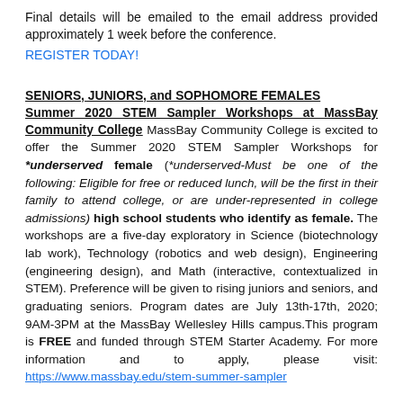Final details will be emailed to the email address provided approximately 1 week before the conference.
REGISTER TODAY!
SENIORS, JUNIORS, and SOPHOMORE FEMALES Summer 2020 STEM Sampler Workshops at MassBay Community College
MassBay Community College is excited to offer the Summer 2020 STEM Sampler Workshops for *underserved female (*underserved-Must be one of the following: Eligible for free or reduced lunch, will be the first in their family to attend college, or are under-represented in college admissions) high school students who identify as female. The workshops are a five-day exploratory in Science (biotechnology lab work), Technology (robotics and web design), Engineering (engineering design), and Math (interactive, contextualized in STEM). Preference will be given to rising juniors and seniors, and graduating seniors. Program dates are July 13th-17th, 2020; 9AM-3PM at the MassBay Wellesley Hills campus.This program is FREE and funded through STEM Starter Academy. For more information and to apply, please visit: https://www.massbay.edu/stem-summer-sampler